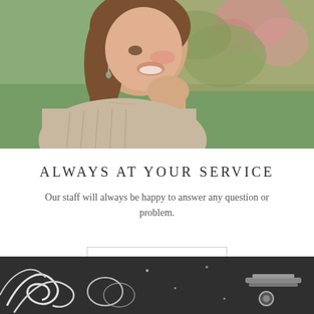[Figure (photo): A smiling young woman with long brown hair touching her earring, wearing a beige sleeveless top, with pink flowers in the blurred background]
ALWAYS AT YOUR SERVICE
Our staff will always be happy to answer any question or problem.
CONTACT
[Figure (photo): Close-up of jewelry pieces including rings on a dark textured surface]